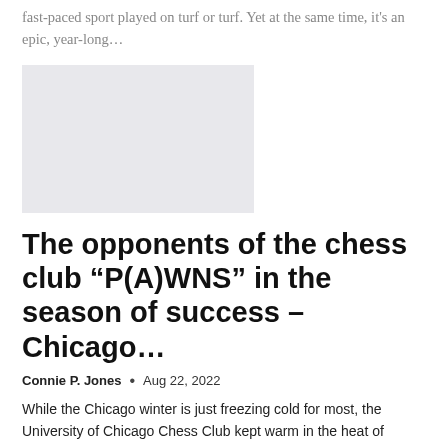fast-paced sport played on turf or turf. Yet at the same time, it's an epic, year-long…
[Figure (photo): Rectangular light grey image placeholder]
The opponents of the chess club “P(A)WNS” in the season of success – Chicago…
Connie P. Jones  •  Aug 22, 2022
While the Chicago winter is just freezing cold for most, the University of Chicago Chess Club kept warm in the heat of competition and paved the way for victory in its wake. From the frosty final weeks of the fall term to the surprisingly…